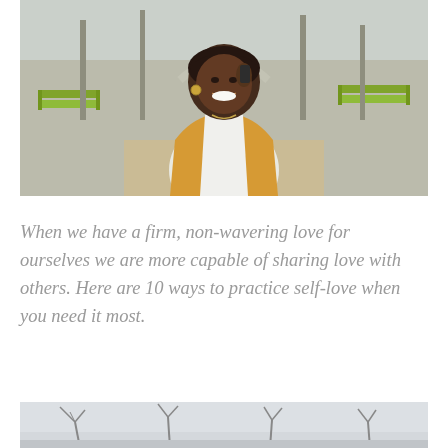[Figure (photo): A smiling Black woman in a yellow/mustard cardigan over a white top, holding a phone to her ear and looking upward joyfully. She is standing in a park with green benches and bare trees in the background.]
When we have a firm, non-wavering love for ourselves we are more capable of sharing love with others. Here are 10 ways to practice self-love when you need it most.
[Figure (photo): Partial view of an outdoor scene with bare tree branches visible against a light grey sky, suggesting a winter or early spring park setting.]